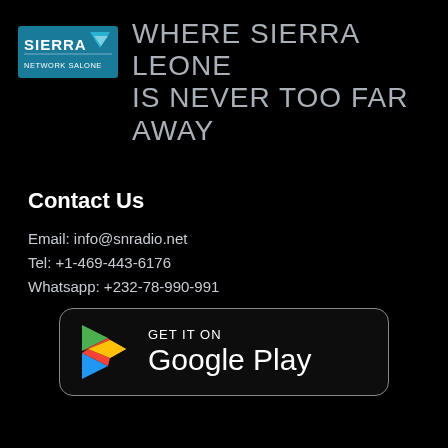[Figure (logo): Sierra Network Salone logo - teal/blue rectangle with SIERRA text, triangle graphic, and NETWORK SALONE text below]
WHERE SIERRA LEONE IS NEVER TOO FAR AWAY
Contact Us
Email: info@snradio.net
Tel: +1-469-443-6176
Whatsapp: +232-78-990-991
[Figure (logo): Google Play store download button with colorful play triangle icon, GET IT ON text above Google Play text]